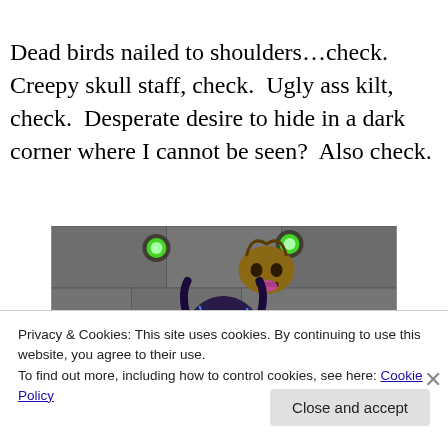Dead birds nailed to shoulders…check.  Creepy skull staff, check.  Ugly ass kilt, check.  Desperate desire to hide in a dark corner where I cannot be seen?  Also check.
[Figure (screenshot): A screenshot from a video game showing a character with dark horns, purple hair, and glowing eyes, with a skull creature visible above in a stone dungeon setting.]
Privacy & Cookies: This site uses cookies. By continuing to use this website, you agree to their use.
To find out more, including how to control cookies, see here: Cookie Policy
Close and accept